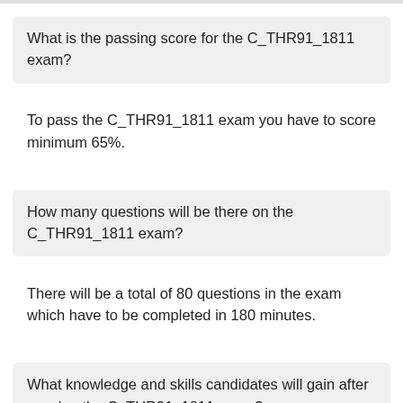What is the passing score for the C_THR91_1811 exam?
To pass the C_THR91_1811 exam you have to score minimum 65%.
How many questions will be there on the C_THR91_1811 exam?
There will be a total of 80 questions in the exam which have to be completed in 180 minutes.
What knowledge and skills candidates will gain after passing the C_THR91_1811 exam?
This certification exam proves that the candidate